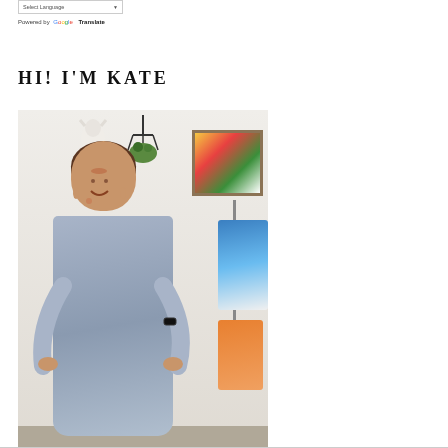Select Language  ▼
Powered by Google Translate
HI! I'M KATE
[Figure (photo): Woman named Kate standing in a room wearing a light blue/grey sleeveless dress, smiling, with hands on hips. Behind her is a hanging plant, a floral painting on the wall, and colorful clothes on a rack to the right.]